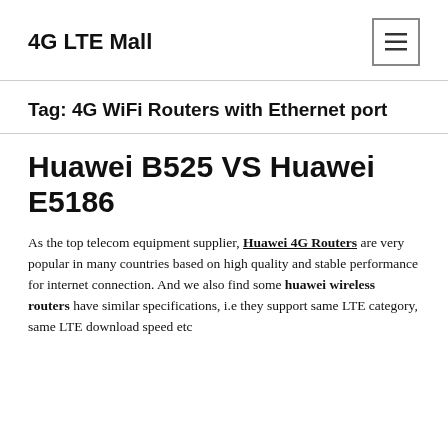4G LTE Mall
Tag: 4G WiFi Routers with Ethernet port
Huawei B525 VS Huawei E5186
As the top telecom equipment supplier, Huawei 4G Routers are very popular in many countries based on high quality and stable performance for internet connection. And we also find some huawei wireless routers have similar specifications, i.e they support same LTE category, same LTE download speed etc